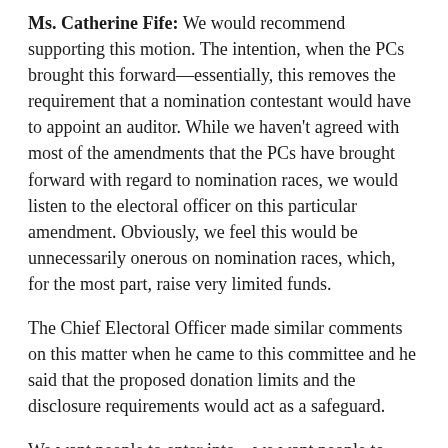Ms. Catherine Fife: We would recommend supporting this motion. The intention, when the PCs brought this forward—essentially, this removes the requirement that a nomination contestant would have to appoint an auditor. While we haven't agreed with most of the amendments that the PCs have brought forward with regard to nomination races, we would listen to the electoral officer on this particular amendment. Obviously, we feel this would be unnecessarily onerous on nomination races, which, for the most part, raise very limited funds.
The Chief Electoral Officer made similar comments on this matter when he came to this committee and he said that the proposed donation limits and the disclosure requirements would act as a safeguard.
We want people to enter into—we want people to seek office. We want people to get involved in the electoral process. If they know they have to get an auditor to audit their nomination process, I really feel that this is a barrier to